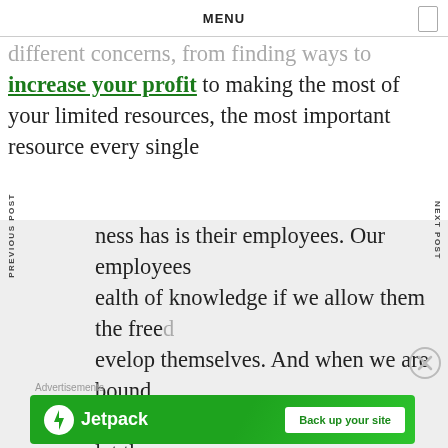MENU
different concerns, from finding ways to increase your profit to making the most of your limited resources, the most important resource every single business has is their employees. Our employees wealth of knowledge if we allow them the freedom to develop themselves. And when we are bound by targets and deadlines the opportunity to let them spread their wings is hard to come by. But when very keen on encouraging our employees to educate themselves further are there any ways that we can do this in the workplace?
Advertisements
[Figure (screenshot): Jetpack advertisement banner with green background, Jetpack logo and 'Back up your site' button]